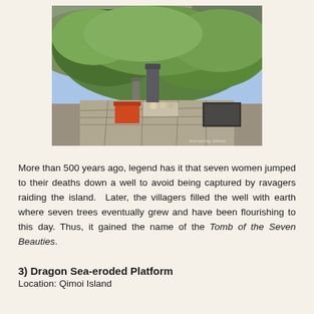[Figure (photo): Outdoor shrine or tomb area surrounded by green trees and bushes, with a stone monument/marker in the center background, offerings and objects on a flat stone surface, stone walls visible, sunny day.]
More than 500 years ago, legend has it that seven women jumped to their deaths down a well to avoid being captured by ravagers raiding the island.  Later, the villagers filled the well with earth where seven trees eventually grew and have been flourishing to this day. Thus, it gained the name of the Tomb of the Seven Beauties.
3) Dragon Sea-eroded Platform
Location: Qimoi Island